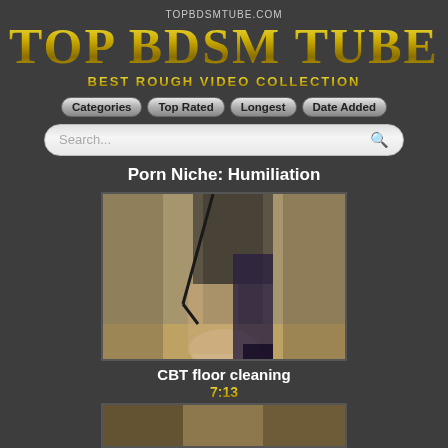TOPBDSMTUBE.COM
TOP BDSM TUBE
BEST ROUGH VIDEO COLLECTION
Categories
Top Rated
Longest
Date Added
Search...
Porn Niche: Humiliation
[Figure (photo): Video thumbnail showing BDSM scene]
CBT floor cleaning
7:13
[Figure (photo): Second video thumbnail, partially visible at bottom]